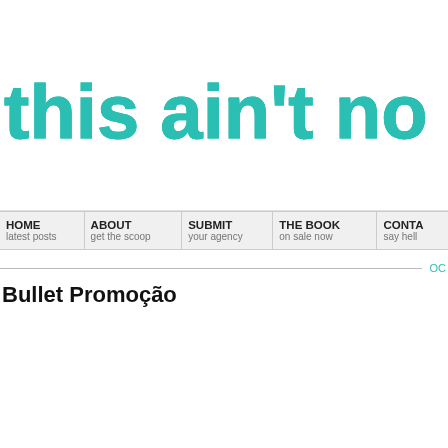[Figure (logo): Website logo reading 'this ain't no d' in large teal rounded bold font, partially cropped on the right]
HOME latest posts | ABOUT get the scoop | SUBMIT your agency | THE BOOK on sale now | CONTA say hell
OC
Bullet Promoção